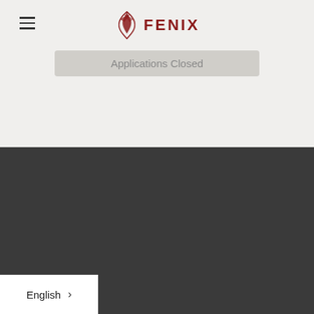FENIX
Applications Closed
Stay updated on what is happening in Greece.
Email Address
e (optional)
English >